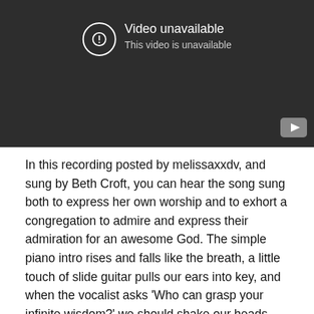[Figure (screenshot): YouTube video player showing 'Video unavailable — This video is unavailable' message on a dark background, with a YouTube logo button in the bottom-right corner.]
In this recording posted by melissaxxdv, and sung by Beth Croft, you can hear the song sung both to express her own worship and to exhort a congregation to admire and express their admiration for an awesome God. The simple piano intro rises and falls like the breath, a little touch of slide guitar pulls our ears into key, and when the vocalist asks 'Who can grasp your infinite wisdom?' we should shake our heads and admit that we cannot grasp the wisdom of a God whose ways are so good and so